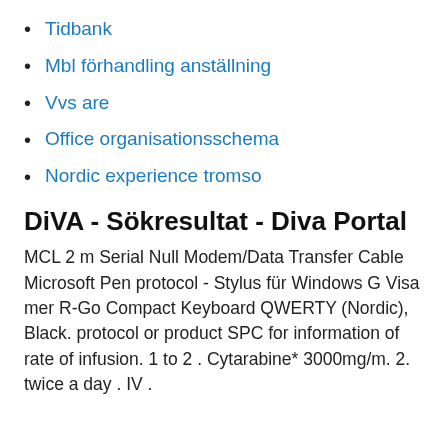Tidbank
Mbl förhandling anställning
Vvs are
Office organisationsschema
Nordic experience tromso
DiVA - Sökresultat - Diva Portal
MCL 2 m Serial Null Modem/Data Transfer Cable Microsoft Pen protocol - Stylus für Windows G Visa mer R-Go Compact Keyboard QWERTY (Nordic), Black. protocol or product SPC for information of rate of infusion. 1 to 2 . Cytarabine* 3000mg/m. 2. twice a day . IV .